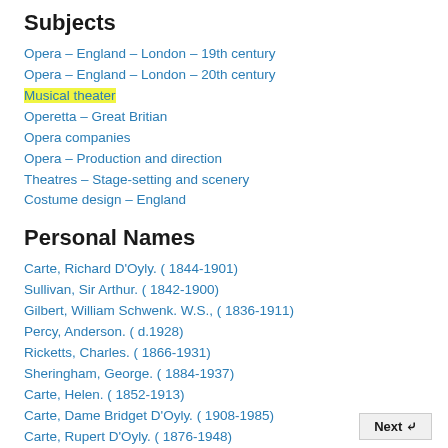Subjects
Opera  –  England  –  London  –  19th century
Opera  –  England  –  London  –  20th century
Musical theater
Operetta  –  Great Britian
Opera companies
Opera  –  Production and direction
Theatres  –  Stage-setting and scenery
Costume design  –  England
Personal Names
Carte,  Richard D'Oyly. ( 1844-1901)
Sullivan,  Sir Arthur. ( 1842-1900)
Gilbert,  William Schwenk.  W.S., ( 1836-1911)
Percy,  Anderson. ( d.1928)
Ricketts,  Charles. ( 1866-1931)
Sheringham,  George. ( 1884-1937)
Carte,  Helen. ( 1852-1913)
Carte,  Dame Bridget D'Oyly. ( 1908-1985)
Carte,  Rupert D'Oyly. ( 1876-1948)
Next